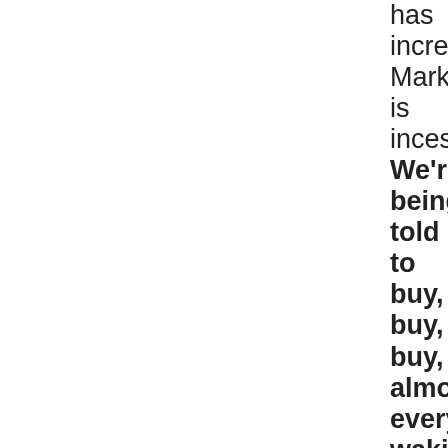has increased? Marketing is incessant. We're being told to buy, buy, buy, almost every waking moment. People have become